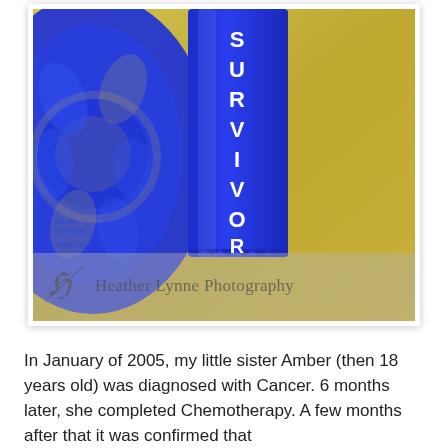[Figure (photo): Close-up photo of a blue 'SURVIVOR' ribbon worn vertically, against a yellow background with blue floral medallion. A watermark reads 'Heather Lynne Photography' with a logo.]
In January of 2005, my little sister Amber (then 18 years old) was diagnosed with Cancer. 6 months later, she completed Chemotherapy. A few months after that it was confirmed that